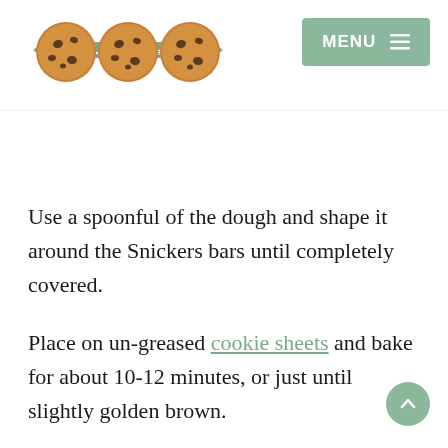[Figure (logo): Family Cookie Recipes logo with three chocolate chip cookie circles and a green banner reading FAMILY COOKIE RECIPES]
[Figure (other): Green MENU button with hamburger icon lines in the top right corner]
Use a spoonful of the dough and shape it around the Snickers bars until completely covered.
Place on un-greased cookie sheets and bake for about 10-12 minutes, or just until slightly golden brown.